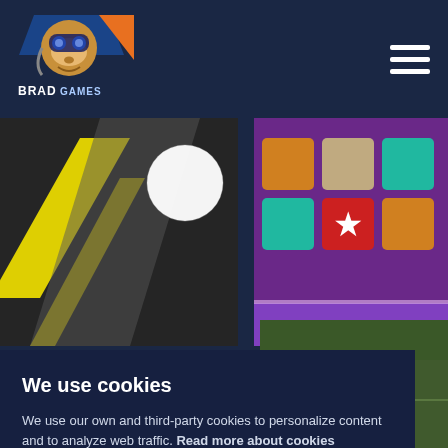[Figure (logo): Brad Games logo - cartoon monkey with helmet and goggles, blue and orange colors, text BRAD GAMES below]
[Figure (screenshot): Game thumbnail left - dark background with yellow diagonal stripe and white circle, minimalist ball game]
[Figure (screenshot): Game thumbnail right - purple background with a 3x2 grid of colored tiles (orange, tan, teal, teal, red star, orange), puzzle game]
[Figure (screenshot): Bottom right game thumbnail - green/dark background with large NG text, arcade game]
[Figure (screenshot): Bottom left game thumbnail - dark striped background, partial view]
We use cookies
We use our own and third-party cookies to personalize content and to analyze web traffic. Read more about cookies
Reject
Accept cookies